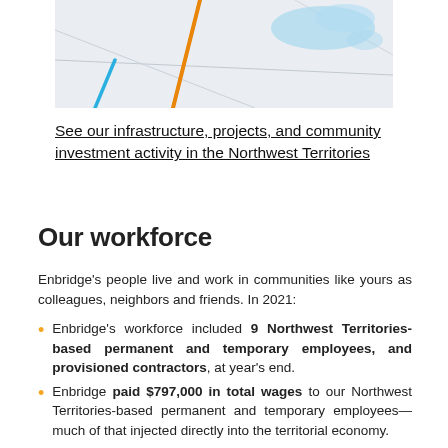[Figure (map): Partial map of Northwest Territories region showing pipeline routes — an orange diagonal line and a blue diagonal line on a light grey/white geographic background with water bodies shown in light blue.]
See our infrastructure, projects, and community investment activity in the Northwest Territories
Our workforce
Enbridge's people live and work in communities like yours as colleagues, neighbors and friends. In 2021:
Enbridge's workforce included 9 Northwest Territories-based permanent and temporary employees, and provisioned contractors, at year's end.
Enbridge paid $797,000 in total wages to our Northwest Territories-based permanent and temporary employees—much of that injected directly into the territorial economy.